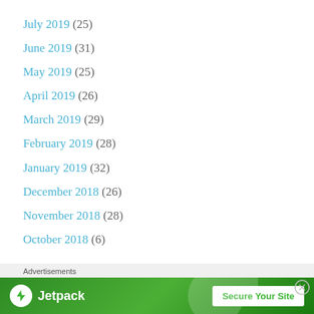July 2019 (25)
June 2019 (31)
May 2019 (25)
April 2019 (26)
March 2019 (29)
February 2019 (28)
January 2019 (32)
December 2018 (26)
November 2018 (28)
October 2018 (6)
Advertisements
[Figure (other): Jetpack advertisement banner with logo and 'Secure Your Site' button on green background]